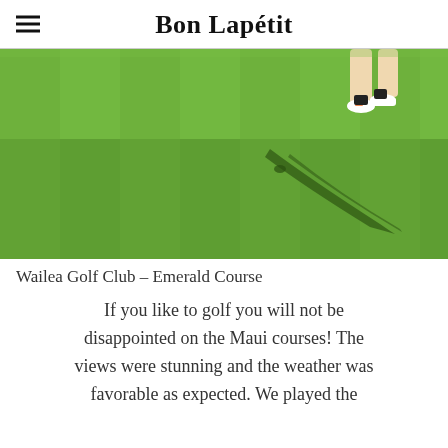Bon Lapétit
[Figure (photo): Person walking on a golf course green, seen from the waist down, with a long shadow cast on the bright green grass.]
Wailea Golf Club – Emerald Course
If you like to golf you will not be disappointed on the Maui courses! The views were stunning and the weather was favorable as expected. We played the